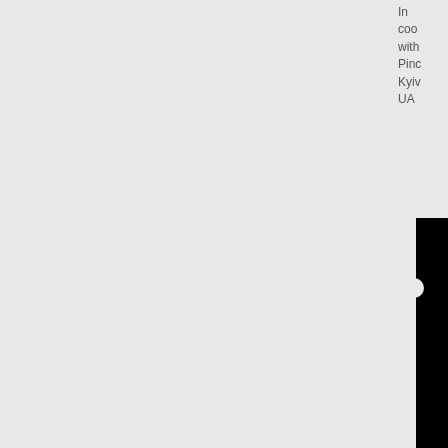In coo with Pinc Kyiv UA
[Figure (other): Black vertical bar with circular cutout near top, positioned at right edge of page]